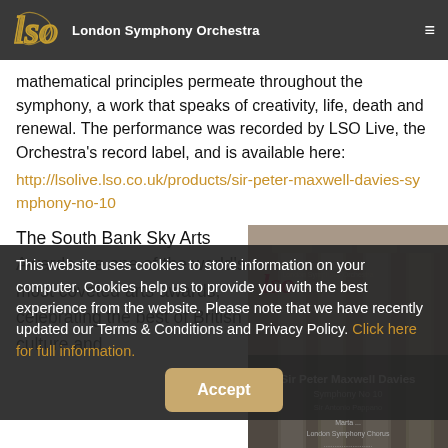LSO — London Symphony Orchestra
mathematical principles permeate throughout the symphony, a work that speaks of creativity, life, death and renewal. The performance was recorded by LSO Live, the Orchestra's record label, and is available here:
http://lsolive.lso.co.uk/products/sir-peter-maxwell-davies-symphony-no-10
The South Bank Sky Arts Awards are one of the world's most coveted arts awards, celebrating the best of British culture and
[Figure (photo): Album cover for Sir Peter Maxwell Davies Symphony No 10, LSO Live recording, featuring classical columns and the LSO logo]
This website uses cookies to store information on your computer. Cookies help us to provide you with the best experience from the website. Please note that we have recently updated our Terms & Conditions and Privacy Policy. Click here for full information.
The glittering annual ceremony is hosted by the South